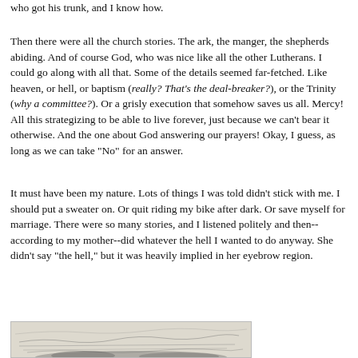who got his trunk, and I know how.
Then there were all the church stories. The ark, the manger, the shepherds abiding. And of course God, who was nice like all the other Lutherans. I could go along with all that. Some of the details seemed far-fetched. Like heaven, or hell, or baptism (really? That's the deal-breaker?), or the Trinity (why a committee?). Or a grisly execution that somehow saves us all. Mercy! All this strategizing to be able to live forever, just because we can't bear it otherwise. And the one about God answering our prayers! Okay, I guess, as long as we can take "No" for an answer.
It must have been my nature. Lots of things I was told didn't stick with me. I should put a sweater on. Or quit riding my bike after dark. Or save myself for marriage. There were so many stories, and I listened politely and then--according to my mother--did whatever the hell I wanted to do anyway. She didn't say "the hell," but it was heavily implied in her eyebrow region.
[Figure (illustration): A faded, aged photograph or illustration showing handwritten script or a landscape scene, partially visible at the bottom of the page.]